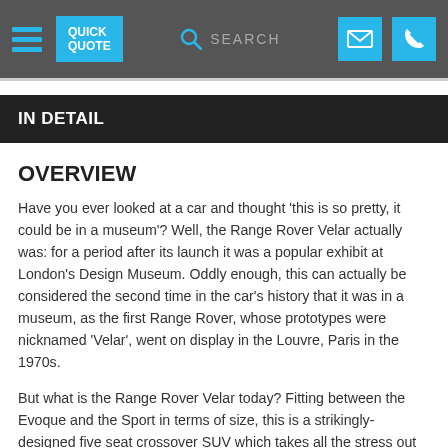QUICK QUOTE | SEARCH | [email icon] [phone icon]
IN DETAIL
OVERVIEW
Have you ever looked at a car and thought ‘this is so pretty, it could be in a museum’? Well, the Range Rover Velar actually was: for a period after its launch it was a popular exhibit at London’s Design Museum. Oddly enough, this can actually be considered the second time in the car’s history that it was in a museum, as the first Range Rover, whose prototypes were nicknamed ‘Velar’, went on display in the Louvre, Paris in the 1970s.
But what is the Range Rover Velar today? Fitting between the Evoque and the Sport in terms of size, this is a strikingly-designed five seat crossover SUV which takes all the stress out of family transportation. [scroll button] le is very minimalist,